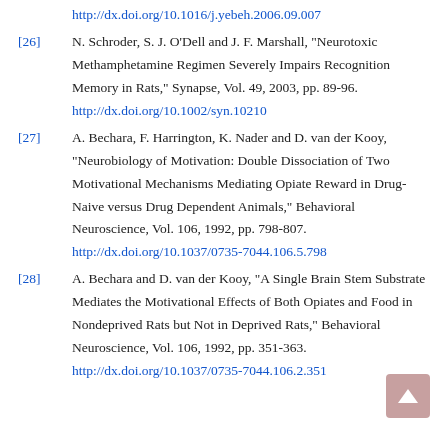http://dx.doi.org/10.1016/j.yebeh.2006.09.007
[26] N. Schroder, S. J. O'Dell and J. F. Marshall, "Neurotoxic Methamphetamine Regimen Severely Impairs Recognition Memory in Rats," Synapse, Vol. 49, 2003, pp. 89-96. http://dx.doi.org/10.1002/syn.10210
[27] A. Bechara, F. Harrington, K. Nader and D. van der Kooy, "Neurobiology of Motivation: Double Dissociation of Two Motivational Mechanisms Mediating Opiate Reward in Drug-Naive versus Drug Dependent Animals," Behavioral Neuroscience, Vol. 106, 1992, pp. 798-807. http://dx.doi.org/10.1037/0735-7044.106.5.798
[28] A. Bechara and D. van der Kooy, "A Single Brain Stem Substrate Mediates the Motivational Effects of Both Opiates and Food in Nondeprived Rats but Not in Deprived Rats," Behavioral Neuroscience, Vol. 106, 1992, pp. 351-363. http://dx.doi.org/10.1037/0735-7044.106.2.351